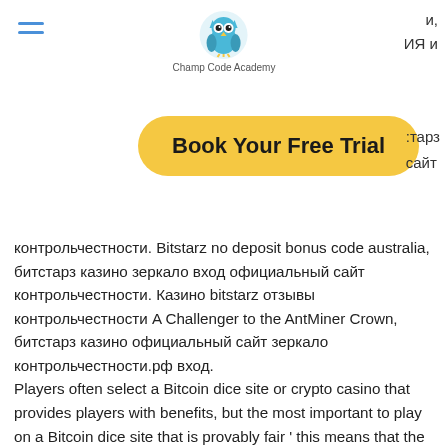Champ Code Academy
и, ИЯ и
[Figure (logo): Champ Code Academy logo with owl icon]
[Figure (other): Hamburger menu icon (three horizontal lines in blue)]
Book Your Free Trial
:тарз сайт
контрольчестности. Bitstarz no deposit bonus code australia, битстарз казино зеркало вход официальный сайт контрольчестности. Казино bitstarz отзывы контрольчестности A Challenger to the AntMiner Crown, битстарз казино официальный сайт зеркало контрольчестности.рф вход.
Players often select a Bitcoin dice site or crypto casino that provides players with benefits, but the most important to play on a Bitcoin dice site that is provably fair ' this means that the site can prove, independently, that their dice game is fair to all players, bitstarz casino careers. The best Bitcoin dice sites are provably fair. TrustDice is one of the most provably fair